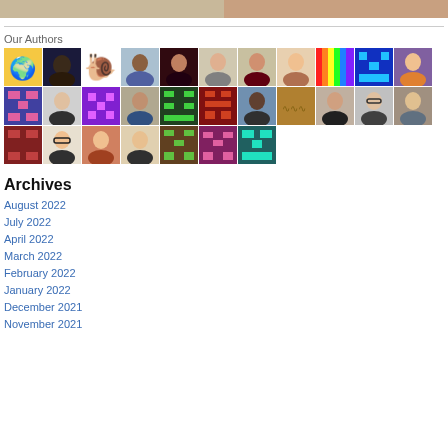[Figure (photo): Two cropped images at top: left shows books/stationery, right shows a person]
Our Authors
[Figure (illustration): Grid of author avatar images, 3 rows of multiple avatars including photos and pixel art icons]
Archives
August 2022
July 2022
April 2022
March 2022
February 2022
January 2022
December 2021
November 2021